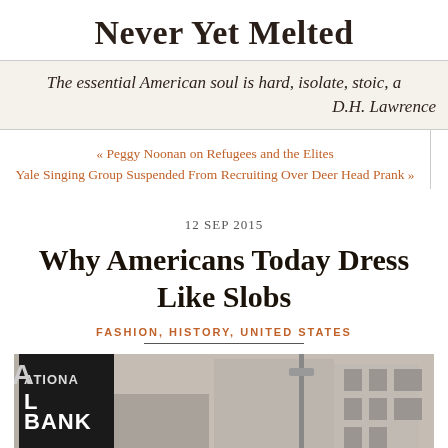Never Yet Melted
The essential American soul is hard, isolate, stoic, a
D.H. Lawrence
« Peggy Noonan on Refugees and the Elites
Yale Singing Group Suspended From Recruiting Over Deer Head Prank »
12 SEP 2015
Why Americans Today Dress Like Slobs
FASHION, HISTORY, UNITED STATES
[Figure (photo): Black and white photograph of a street scene showing a National Bank sign on a building and a lamp post, with other buildings visible in the background.]